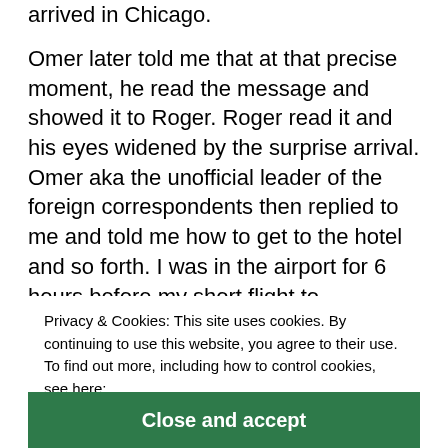arrived in Chicago.
Omer later told me that at that precise moment, he read the message and showed it to Roger. Roger read it and his eyes widened by the surprise arrival. Omer aka the unofficial leader of the foreign correspondents then replied to me and told me how to get to the hotel and so forth. I was in the airport for 6 hours before my short flight to Champaign took off.
I arrived there Friday night at around 8 o'clock. Meanwhile, everyone was watching Syracuse-New York, so I took a cab to the Illini Union Hotel and checked-in. I was very tired but decided to attend the mid-fest party late that night. Grace Wang was kind enough to... of anything. She turned out to be this wonderful person, much nicer than her already kind personality
Privacy & Cookies: This site uses cookies. By continuing to use this website, you agree to their use. To find out more, including how to control cookies, see here: Cookie Policy
Close and accept